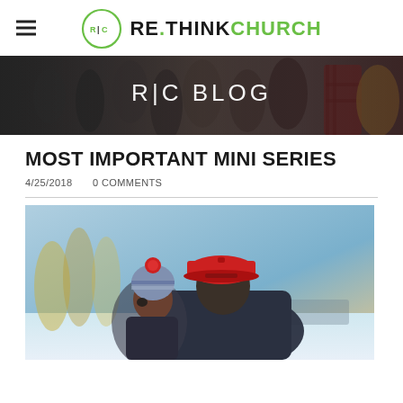RE.THINK CHURCH
[Figure (photo): Banner photo showing a crowd of people inside a building with text 'R|C BLOG' overlaid in white]
MOST IMPORTANT MINI SERIES
4/25/2018   0 COMMENTS
[Figure (photo): Close-up photo of a man in a red baseball cap and a young child in a red winter hat with pompom, outdoors in snowy setting]